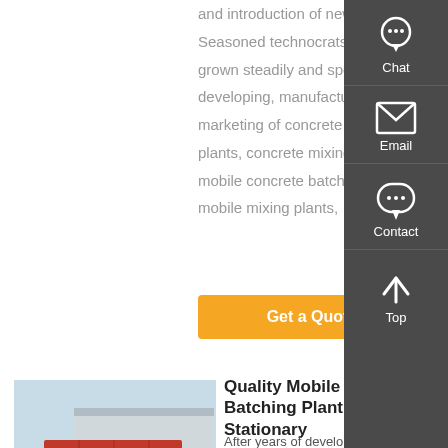and introduction of new products. Seasoned technocrats has grown steadily and specialized in developing, manufacturing and marketing of concrete batching plants, concrete mixing plants, mobile concrete batching plants, mobile mixing plants, …
Get a Quote
[Figure (photo): Red dump truck / concrete batching truck parked outdoors near a warehouse building]
Quality Mobile Concrete Batching Plant & Stationary
After years of development, the main R&D equipment series are